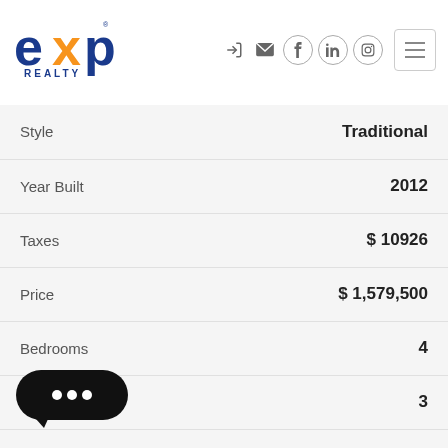[Figure (logo): eXp Realty logo with orange X and blue text]
| Property Attribute | Value |
| --- | --- |
| Style | Traditional |
| Year Built | 2012 |
| Taxes | $ 10926 |
| Price | $ 1,579,500 |
| Bedrooms | 4 |
| Full Bathrooms | 3 |
| Half Bathrooms | 2 |
| Lot Size | 0.476 Acres |